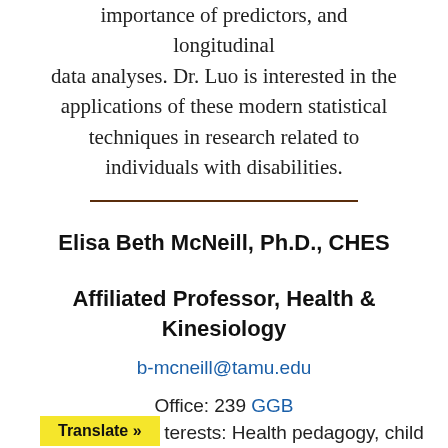importance of predictors, and longitudinal data analyses. Dr. Luo is interested in the applications of these modern statistical techniques in research related to individuals with disabilities.
Elisa Beth McNeill, Ph.D., CHES
Affiliated Professor, Health & Kinesiology
b-mcneill@tamu.edu
Office: 239 GGB
terests: Health pedagogy, child